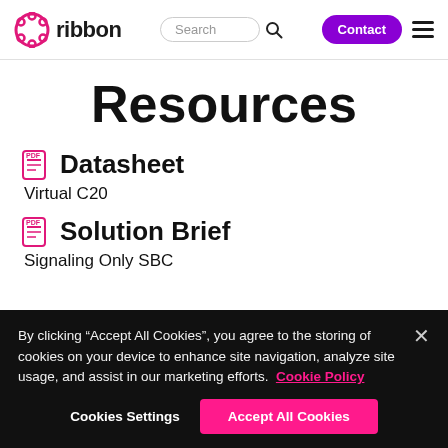ribbon | Search | Contact
Resources
Datasheet
Virtual C20
Solution Brief
Signaling Only SBC
By clicking “Accept All Cookies”, you agree to the storing of cookies on your device to enhance site navigation, analyze site usage, and assist in our marketing efforts. Cookie Policy
Cookies Settings
Accept All Cookies